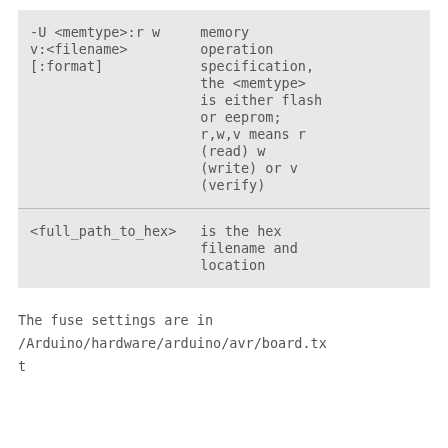| -U <memtype>:r w
v:<filename>
[:format] | memory
operation
specification,
the <memtype>
is either flash
or eeprom;
r,w,v means r
(read) w
(write) or v
(verify) |
| <full_path_to_hex> | is the hex
filename and
location |
The fuse settings are in
/Arduino/hardware/arduino/avr/board.txt